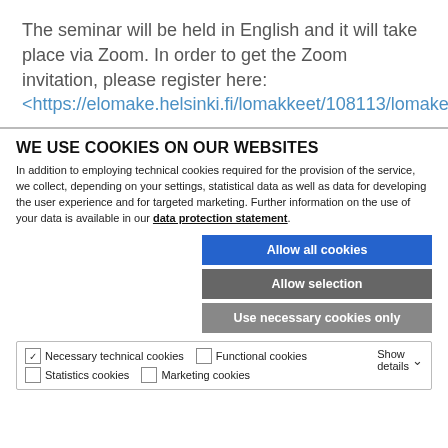The seminar will be held in English and it will take place via Zoom. In order to get the Zoom invitation, please register here: <https://elomake.helsinki.fi/lomakkeet/108113/lomake.html>,
WE USE COOKIES ON OUR WEBSITES
In addition to employing technical cookies required for the provision of the service, we collect, depending on your settings, statistical data as well as data for developing the user experience and for targeted marketing. Further information on the use of your data is available in our data protection statement.
[Figure (other): Cookie consent buttons: Allow all cookies (blue), Allow selection (gray), Use necessary cookies only (gray)]
Necessary technical cookies  Functional cookies  Statistics cookies  Marketing cookies  Show details